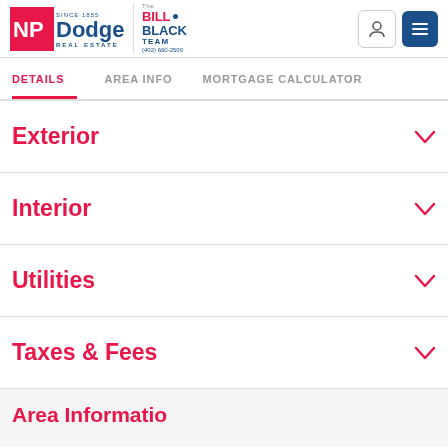NP Dodge Real Estate - The Bill Black Team (402) 660-2500
DETAILS | AREA INFO | MORTGAGE CALCULATOR
Exterior
Interior
Utilities
Taxes & Fees
Area Information